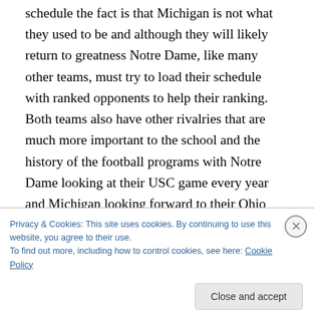schedule the fact is that Michigan is not what they used to be and although they will likely return to greatness Notre Dame, like many other teams, must try to load their schedule with ranked opponents to help their ranking. Both teams also have other rivalries that are much more important to the school and the history of the football programs with Notre Dame looking at their USC game every year and Michigan looking forward to their Ohio State game every year. The end of the rivalry is just a sign of the times in the NCAA as every team looks to make their lives somewhat easier. It is not necessarily that they
Privacy & Cookies: This site uses cookies. By continuing to use this website, you agree to their use.
To find out more, including how to control cookies, see here: Cookie Policy
Close and accept